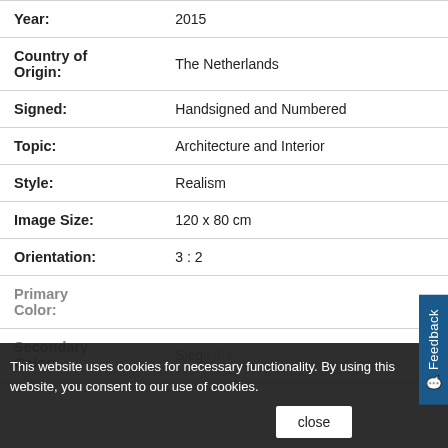| Field | Value |
| --- | --- |
| Year: | 2015 |
| Country of Origin: | The Netherlands |
| Signed: | Handsigned and Numbered |
| Topic: | Architecture and Interior |
| Style: | Realism |
| Image Size: | 120 x 80 cm |
| Orientation: | 3 : 2 |
| Primary Color: |  |
| Secondary Color: | Sieglinde |
This website uses cookies for necessary functionality. By using this website, you consent to our use of cookies.
close